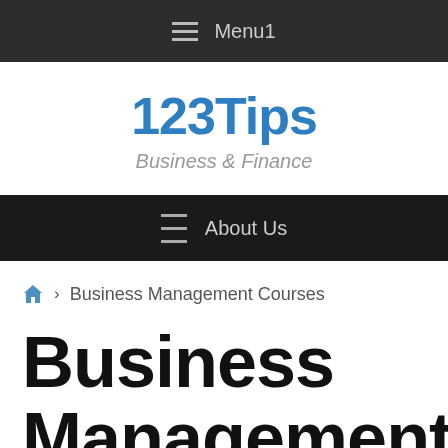Menu1
123Tips
Business & Finance
About Us
Home > Business Management Courses
Business Management Courses